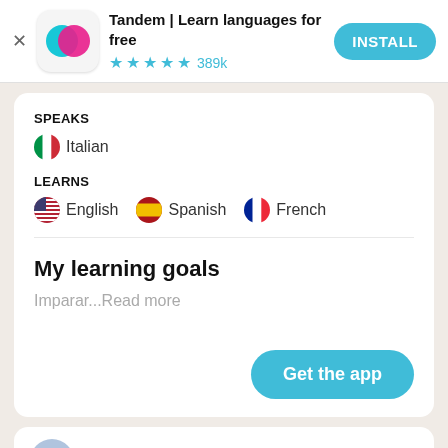[Figure (screenshot): Tandem app advertisement banner with logo, title 'Tandem | Learn languages for free', star rating 389k, and INSTALL button]
SPEAKS
🇮🇹 Italian
LEARNS
🇺🇸 English   🇪🇸 Spanish   🇫🇷 French
My learning goals
Imparar...Read more
[Figure (screenshot): Get the app button in teal/cyan color]